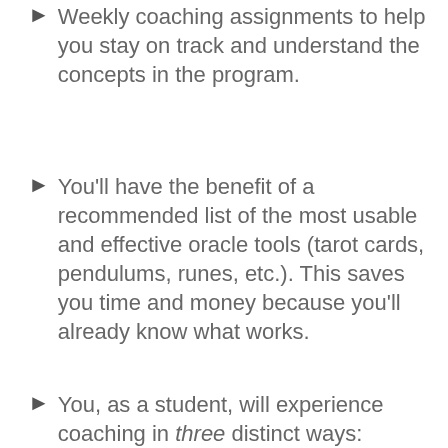Weekly coaching assignments to help you stay on track and understand the concepts in the program.
You'll have the benefit of a recommended list of the most usable and effective oracle tools (tarot cards, pendulums, runes, etc.). This saves you time and money because you'll already know what works.
You, as a student, will experience coaching in three distinct ways: